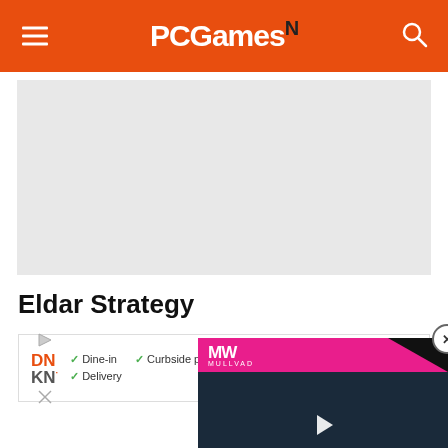PCGamesN
[Figure (screenshot): Gray placeholder image area for article content]
Eldar Strategy
[Figure (screenshot): Video overlay showing Mullvad logo and text: EMBRACER GROUP BUY LOTR RIGHTS with play button, dark background showing face]
[Figure (screenshot): Advertisement banner for Dunkin with options: Dine-in, Curbside pickup, Delivery]